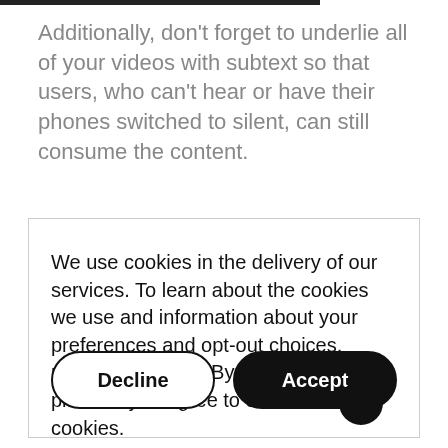Additionally, don't forget to underlie all of your videos with subtext so that users, who can't hear or have their phones switched to silent, can still consume the content.
We use cookies in the delivery of our services. To learn about the cookies we use and information about your preferences and opt-out choices, please click here. By using our platform you agree to our use of cookies.